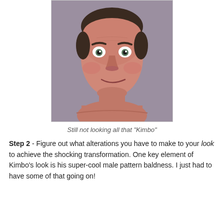[Figure (photo): Close-up photo of a thin man with short dark hair, wide eyes, and a smirking expression, shirtless, against a gray-purple background. Still not looking particularly 'Kimbo'.]
Still not looking all that "Kimbo"
Step 2 - Figure out what alterations you have to make to your look to achieve the shocking transformation. One key element of Kimbo's look is his super-cool male pattern baldness. I just had to have some of that going on!